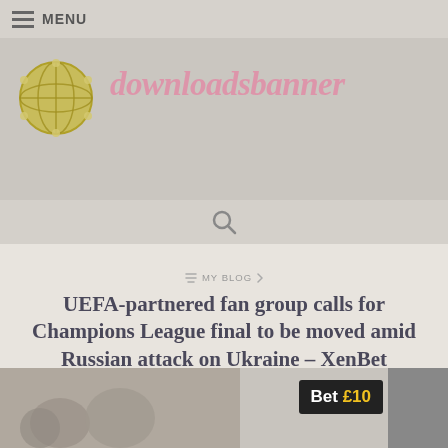MENU
[Figure (logo): downloadsbannер website banner with circular globe logo on left and pink italic text 'downloadsbanner' on right, on grey background]
UEFA-partnered fan group calls for Champions League final to be moved amid Russian attack on Ukraine – XenBet
MY BLOG
HEID PORTER · FEBRUARY 24, 2022
[Figure (photo): Partial image at bottom showing a betting advertisement with 'Bet £10' text on dark background alongside a crowd scene image]